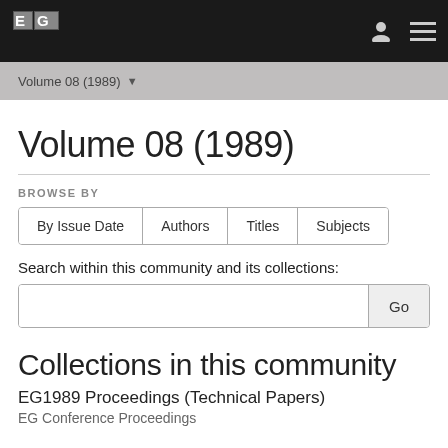EG logo navigation bar with user and menu icons
Volume 08 (1989) ▾
Volume 08 (1989)
BROWSE BY
By Issue Date | Authors | Titles | Subjects
Search within this community and its collections:
Collections in this community
EG1989 Proceedings (Technical Papers)
EG Conference Proceedings